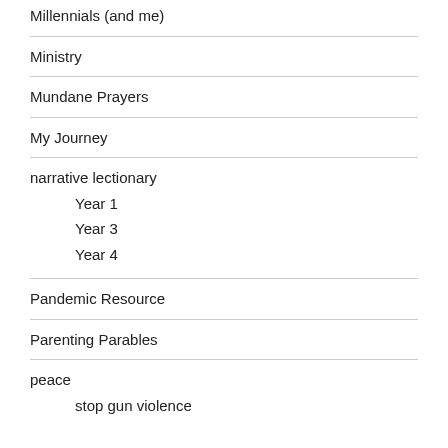Millennials (and me)
Ministry
Mundane Prayers
My Journey
narrative lectionary
Year 1
Year 3
Year 4
Pandemic Resource
Parenting Parables
peace
stop gun violence